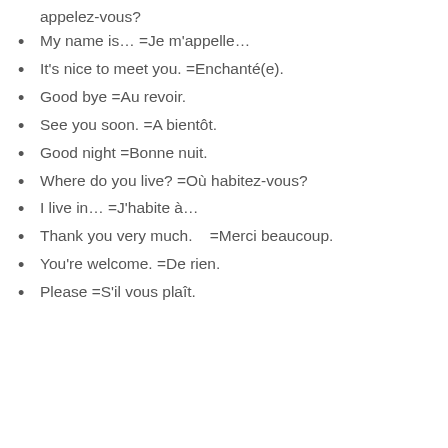appelez-vous?
My name is… =Je m'appelle…
It's nice to meet you. =Enchanté(e).
Good bye =Au revoir.
See you soon. =A bientôt.
Good night =Bonne nuit.
Where do you live? =Où habitez-vous?
I live in… =J'habite à…
Thank you very much. =Merci beaucoup.
You're welcome. =De rien.
Please =S'il vous plaît.